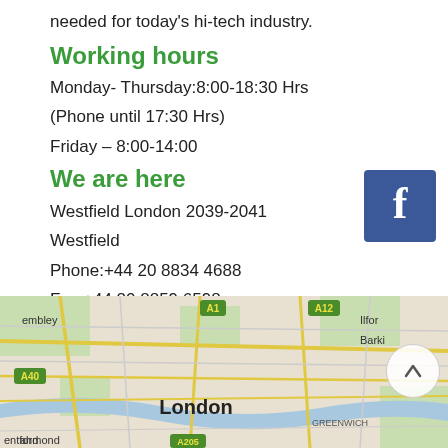needed for today's hi-tech industry.
Working hours
Monday- Thursday:8:00-18:30 Hrs
(Phone until 17:30 Hrs)
Friday – 8:00-14:00
We are here
Westfield London 2039-2041
Westfield
Phone:+44 20 8834 4688
Fax:+44 20 8859 6598
Email: info@collage.com
[Figure (map): Google map showing London area with roads, A1, A12, A40, A205 road labels, GREENWICH label, entford, embley, Ilfor, Barki visible, and London label in center]
[Figure (logo): Facebook logo button — blue square with white lowercase f]